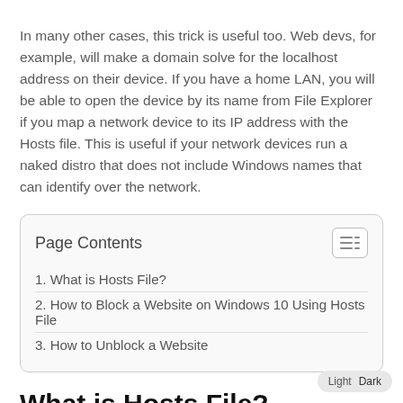In many other cases, this trick is useful too. Web devs, for example, will make a domain solve for the localhost address on their device. If you have a home LAN, you will be able to open the device by its name from File Explorer if you map a network device to its IP address with the Hosts file. This is useful if your network devices run a naked distro that does not include Windows names that can identify over the network.
Page Contents
1. What is Hosts File?
2. How to Block a Website on Windows 10 Using Hosts File
3. How to Unblock a Website
What is Hosts File?
The Hosts file can be edited by any text editor as a standard text file.